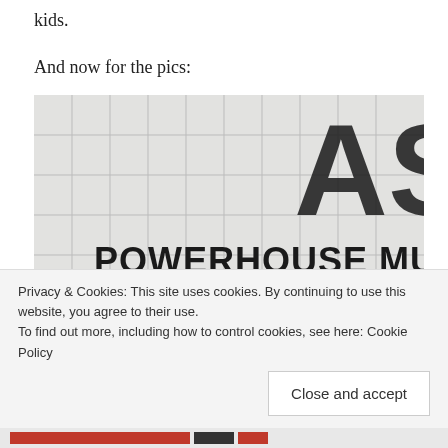kids.
And now for the pics:
[Figure (photo): Exterior of the Powerhouse Museum building. Large white tiled facade with 'POWERHOUSE MUSE' visible on the wall and large bold letters 'AS' at top right. Ground floor shows dark windows with a blue figure/mannequin and a yellow sign visible.]
Privacy & Cookies: This site uses cookies. By continuing to use this website, you agree to their use.
To find out more, including how to control cookies, see here: Cookie Policy
Close and accept